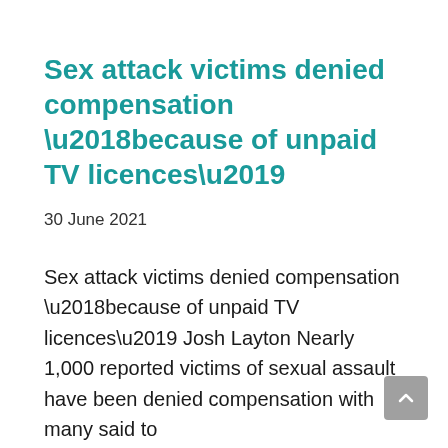Sex attack victims denied compensation ‘because of unpaid TV licences’
30 June 2021
Sex attack victims denied compensation ‘because of unpaid TV licences’ Josh Layton Nearly 1,000 reported victims of sexual assault have been denied compensation with many said to